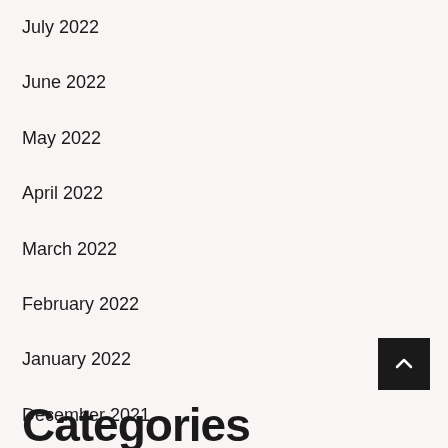July 2022
June 2022
May 2022
April 2022
March 2022
February 2022
January 2022
December 2021
October 2021
Categories